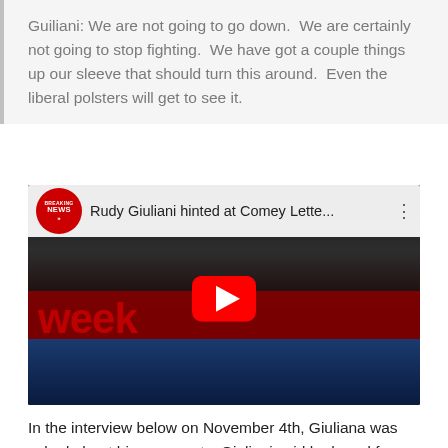Guiliani: We are not going to go down. We are certainly not going to stop fighting. We have got a couple things up our sleeve that should turn this around. Even the liberal polsters will get to see it.
[Figure (screenshot): YouTube video thumbnail showing Rudy Giuliani on a news program. Title bar reads 'Rudy Giuliani hinted at Comey Lette...' with a Breaking News badge. A red play button is overlaid in the center.]
In the interview below on November 4th, Giuliana was asked about his comments. Giuliani said he heard from former FBI agents that there is a revolution taking place in the FBI. FBI